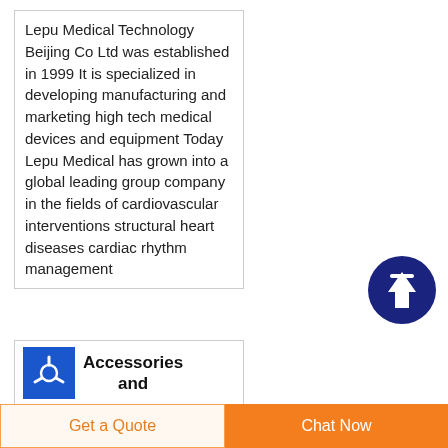Lepu Medical Technology Beijing Co Ltd was established in 1999 It is specialized in developing manufacturing and marketing high tech medical devices and equipment Today Lepu Medical has grown into a global leading group company in the fields of cardiovascular interventions structural heart diseases cardiac rhythm management
[Figure (other): Dark blue circular scroll-to-top button with upward arrow icon]
[Figure (logo): Blue square icon with a white three-pronged symbol]
Accessories and ConsumablesDräger
Get a Quote
Chat Now